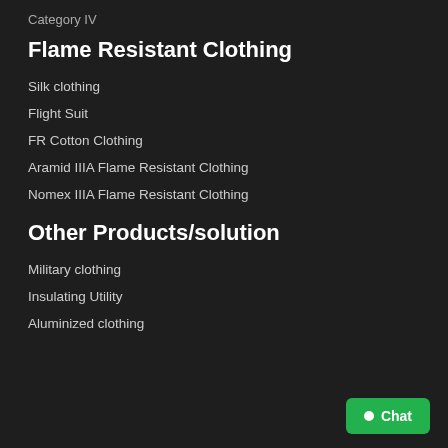Category IV
Flame Resistant Clothing
Silk clothing
Flight Suit
FR Cotton Clothing
Aramid IIIA Flame Resistant Clothing
Nomex IIIA Flame Resistant Clothing
Other Products/solution
Military clothing
Insulating Utility
Aluminized clothing